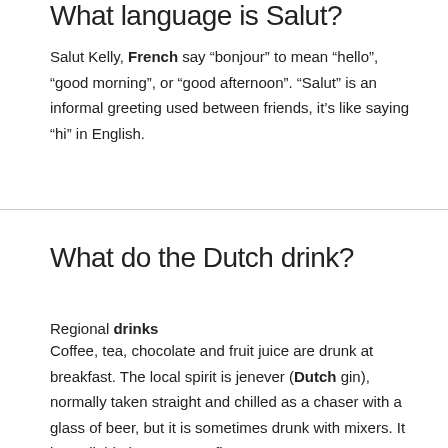What language is Salut?
Salut Kelly, French say “bonjour” to mean “hello”, “good morning”, or “good afternoon”. “Salut” is an informal greeting used between friends, it’s like saying “hi” in English.
What do the Dutch drink?
Regional drinks
Coffee, tea, chocolate and fruit juice are drunk at breakfast. The local spirit is jenever (Dutch gin), normally taken straight and chilled as a chaser with a glass of beer, but it is sometimes drunk with mixers. It is available in numerous flavours.